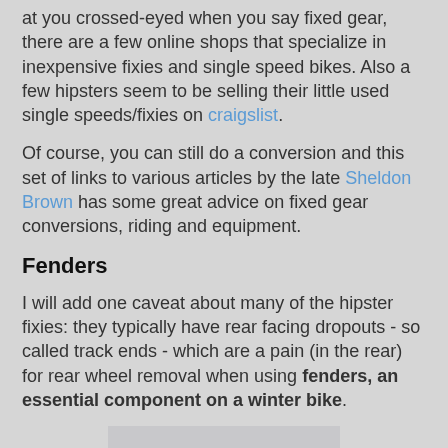at you crossed-eyed when you say fixed gear, there are a few online shops that specialize in inexpensive fixies and single speed bikes. Also a few hipsters seem to be selling their little used single speeds/fixies on craigslist.
Of course, you can still do a conversion and this set of links to various articles by the late Sheldon Brown has some great advice on fixed gear conversions, riding and equipment.
Fenders
I will add one caveat about many of the hipster fixies: they typically have rear facing dropouts - so called track ends - which are a pain (in the rear) for rear wheel removal when using fenders, an essential component on a winter bike.
[Figure (photo): A bicycle with red panniers/bags photographed in a snowy winter scene with residential buildings in the background and snowy ground.]